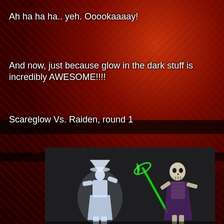Ah ha ha ha.. yeh.  Ooookaaaay!
And now, just because glow in the dark stuff is incredibly AWESOME!!!!
Scareglow Vs. Raiden, round 1
[Figure (photo): Two action figures posed against a dark fabric background. On the left is a glowing white translucent figure (Raiden) in a fighting stance. On the right is a skeleton figure (Scareglow) holding a green glowing scythe/staff weapon.]